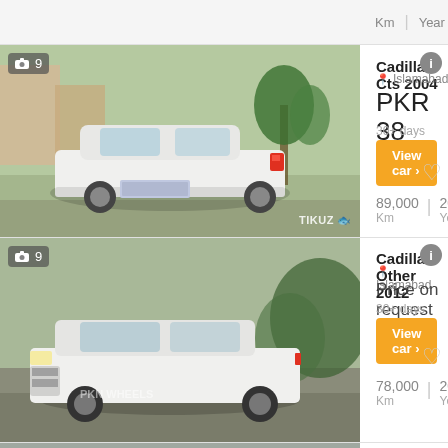Km   Year
[Figure (photo): White Cadillac CTS 2004 sedan parked on a street, rear view, with watermark Tikuz]
9
Cadillac Cts 2004
Islamabad
PKR 38 lakhs
30+ days ago
View car >
89,000 Km   2004 Year
[Figure (photo): White Cadillac SUV/Escalade 2012 parked outdoors]
9
Cadillac Other 2012
Islamabad
Price on request
30+ days ago
View car >
78,000 Km   2012 Year
[Figure (photo): Partial view of a car listing for 2007 White Cadillac Escalade EXT]
9
2007 White Cadillac Escalade EXT - For Sale in Lahore
Lahore